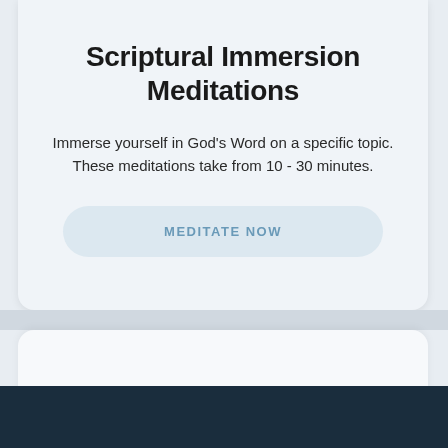Scriptural Immersion Meditations
Immerse yourself in God's Word on a specific topic. These meditations take from 10 - 30 minutes.
MEDITATE NOW
Plone Medita...